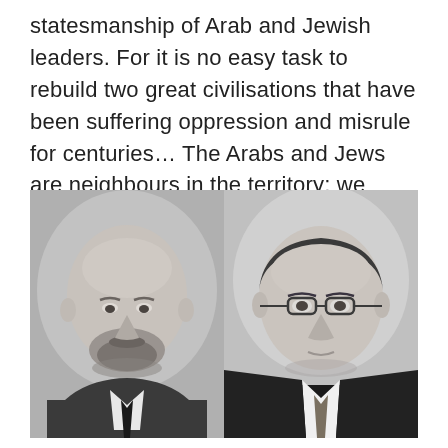statesmanship of Arab and Jewish leaders. For it is no easy task to rebuild two great civilisations that have been suffering oppression and misrule for centuries… The Arabs and Jews are neighbours in the territory; we cannot but live side by side as friends…
[Figure (photo): Two black-and-white portrait photographs side by side. Left: a bald man with a beard wearing a suit and tie. Right: a man with glasses wearing a dark suit and tie.]